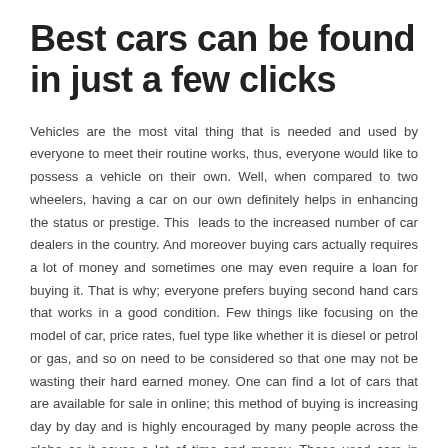Best cars can be found in just a few clicks
Vehicles are the most vital thing that is needed and used by everyone to meet their routine works, thus, everyone would like to possess a vehicle on their own. Well, when compared to two wheelers, having a car on our own definitely helps in enhancing the status or prestige. This leads to the increased number of car dealers in the country. And moreover buying cars actually requires a lot of money and sometimes one may even require a loan for buying it. That is why; everyone prefers buying second hand cars that works in a good condition. Few things like focusing on the model of car, price rates, fuel type like whether it is diesel or petrol or gas, and so on need to be considered so that one may not be wasting their hard earned money. One can find a lot of cars that are available for sale in online; this method of buying is increasing day by day and is highly encouraged by many people across the globe as it saves a lot of time and money. These used cars in comments in online actually have a lot of advantages when